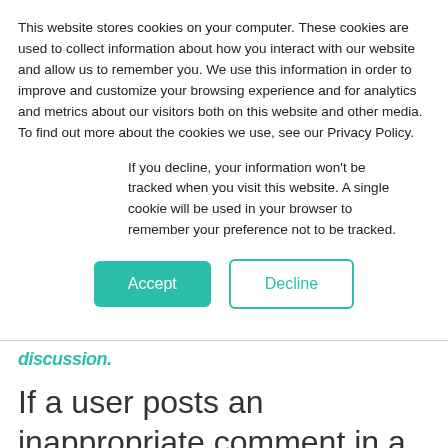This website stores cookies on your computer. These cookies are used to collect information about how you interact with our website and allow us to remember you. We use this information in order to improve and customize your browsing experience and for analytics and metrics about our visitors both on this website and other media. To find out more about the cookies we use, see our Privacy Policy.
If you decline, your information won't be tracked when you visit this website. A single cookie will be used in your browser to remember your preference not to be tracked.
Accept | Decline
discussion.
If a user posts an inappropriate comment in a discussion, you can remove the post and ban them from that discussion or from all discussions.